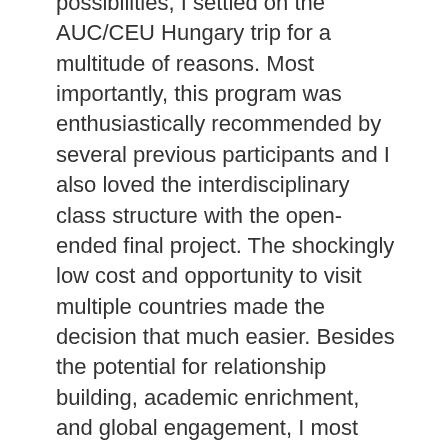possibilities, I settled on the AUC/CEU Hungary trip for a multitude of reasons. Most importantly, this program was enthusiastically recommended by several previous participants and I also loved the interdisciplinary class structure with the open-ended final project. The shockingly low cost and opportunity to visit multiple countries made the decision that much easier. Besides the potential for relationship building, academic enrichment, and global engagement, I most fundamentally desired to learn lessons of personal growth and self-awareness to guide my future career decisions and contributions to the world.
So, after all those lofty expectations, how did those plans actually fare?